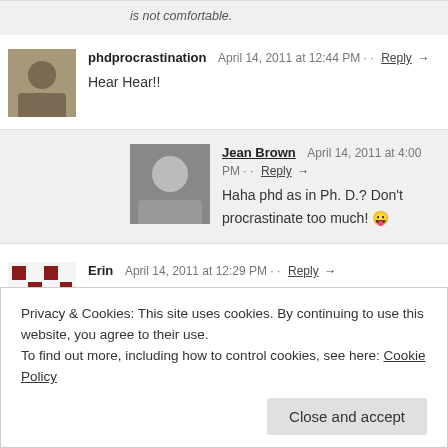is not comfortable.
phdprocrastination  April 14, 2011 at 12:44 PM · · Reply →
Hear Hear!!
Jean Brown  April 14, 2011 at 4:00 PM · · Reply →
Haha phd as in Ph. D.? Don't procrastinate too much! 😛
Erin  April 14, 2011 at 12:29 PM · · Reply →
All this post makes me think of is sitting in the Ahearn computer lab writing our Aristotle papers into the wee hours of the morning, and watching the YATA YATA YATA dance on something other than
Privacy & Cookies: This site uses cookies. By continuing to use this website, you agree to their use.
To find out more, including how to control cookies, see here: Cookie Policy
Close and accept
sometimes procrastinating can be so fun, especially with a